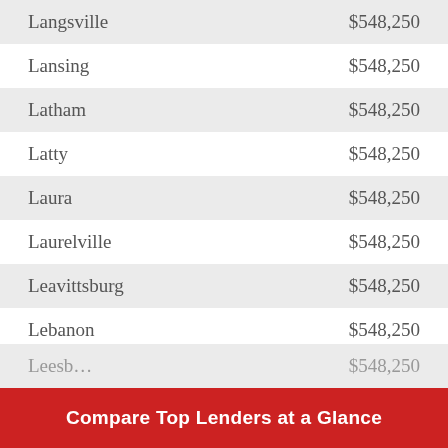| City | Amount |
| --- | --- |
| Langsville | $548,250 |
| Lansing | $548,250 |
| Latham | $548,250 |
| Latty | $548,250 |
| Laura | $548,250 |
| Laurelville | $548,250 |
| Leavittsburg | $548,250 |
| Lebanon | $548,250 |
| Lees Creek | $548,250 |
| Leesburg (partial) | $548,250 (partial) |
Compare Top Lenders at a Glance